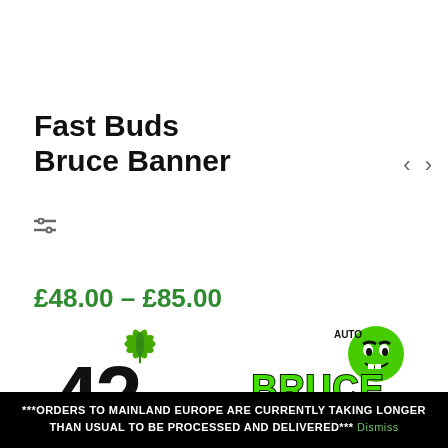[Figure (photo): Two product thumbnail images at top — left shows cannabis plant photo, right shows green brand logo on dark background]
Fast Buds Bruce Banner
£48.00 – £85.00
[Figure (logo): 42 Fast Buds logo — black stylized text with green cannabis leaf]
[Figure (logo): Auto Bruce Banner logo — green bold text with Hulk character illustration]
Gender: Feminized
Genetics: Forbidden Runtz
Flowering: 9 weeks
Size: XXL
***ORDERS TO MAINLAND EUROPE ARE CURRENTLY TAKING LONGER THAN USUAL TO BE PROCESSED AND DELIVERED*** Dismiss